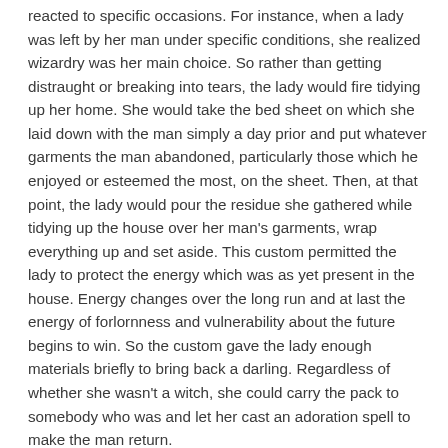reacted to specific occasions. For instance, when a lady was left by her man under specific conditions, she realized wizardry was her main choice. So rather than getting distraught or breaking into tears, the lady would fire tidying up her home. She would take the bed sheet on which she laid down with the man simply a day prior and put whatever garments the man abandoned, particularly those which he enjoyed or esteemed the most, on the sheet. Then, at that point, the lady would pour the residue she gathered while tidying up the house over her man's garments, wrap everything up and set aside. This custom permitted the lady to protect the energy which was as yet present in the house. Energy changes over the long run and at last the energy of forlornness and vulnerability about the future begins to win. So the custom gave the lady enough materials briefly to bring back a darling. Regardless of whether she wasn't a witch, she could carry the pack to somebody who was and let her cast an adoration spell to make the man return.